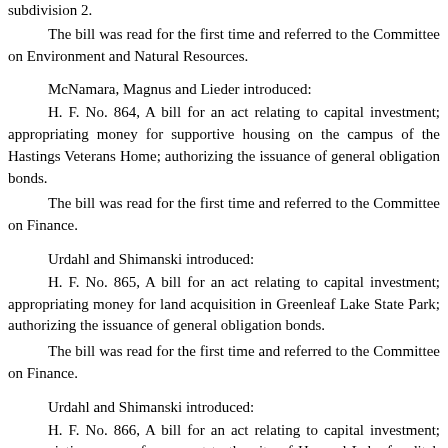subdivision 2.
The bill was read for the first time and referred to the Committee on Environment and Natural Resources.
McNamara, Magnus and Lieder introduced:
H. F. No. 864, A bill for an act relating to capital investment; appropriating money for supportive housing on the campus of the Hastings Veterans Home; authorizing the issuance of general obligation bonds.
The bill was read for the first time and referred to the Committee on Finance.
Urdahl and Shimanski introduced:
H. F. No. 865, A bill for an act relating to capital investment; appropriating money for land acquisition in Greenleaf Lake State Park; authorizing the issuance of general obligation bonds.
The bill was read for the first time and referred to the Committee on Finance.
Urdahl and Shimanski introduced:
H. F. No. 866, A bill for an act relating to capital investment; appropriating money for a grant to the city of Howard Lake for ditch work; authorizing the